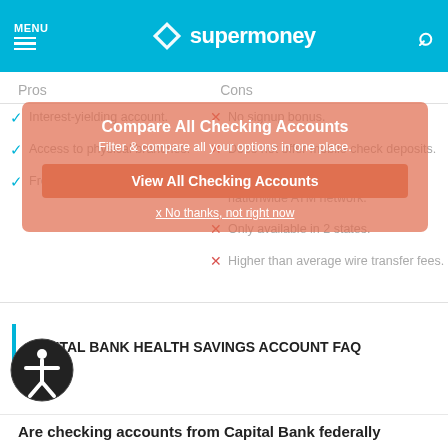MENU supermoney [search]
Pros
Cons
Interest-yielding account.
No signup bonus.
Access to physical branches.
Does not offer mobile check deposits.
Free debit card
Does not provide access to a nationwide ATM network.
Only available in 2 states.
Higher than average wire transfer fees.
[Figure (screenshot): Popup overlay: Compare All Checking Accounts. Filter & compare all your options in one place. View All Checking Accounts button. x No thanks, not right now dismiss link.]
CAPITAL BANK HEALTH SAVINGS ACCOUNT FAQ
Are checking accounts from Capital Bank federally